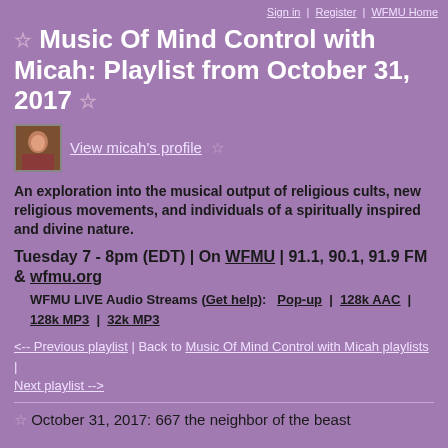Sign in | Register | WFMU Home
☆ Music Of Mind Control with Micah: Playlist from October 31, 2017 ☆
View micah's profile ☆
An exploration into the musical output of religious cults, new religious movements, and individuals of a spiritually inspired and divine nature.
Tuesday 7 - 8pm (EDT) | On WFMU | 91.1, 90.1, 91.9 FM & wfmu.org
WFMU LIVE Audio Streams (Get help):   Pop-up  |  128k AAC  |  128k MP3  |  32k MP3
<-- Previous playlist | Back to Music Of Mind Control with Micah playlists | Next playlist -->
☆ October 31, 2017: 667 the neighbor of the beast